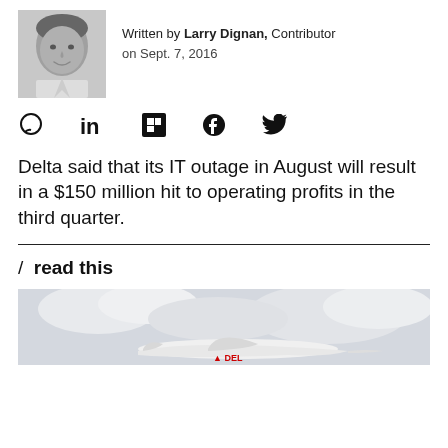[Figure (photo): Black and white headshot photo of Larry Dignan, a smiling man]
Written by Larry Dignan, Contributor
on Sept. 7, 2016
[Figure (infographic): Social sharing icons: comment bubble, LinkedIn, Flipboard, Facebook, Twitter]
Delta said that its IT outage in August will result in a $150 million hit to operating profits in the third quarter.
/ read this
[Figure (photo): Photo of a Delta airplane flying through cloudy sky, partially cropped at bottom of page]